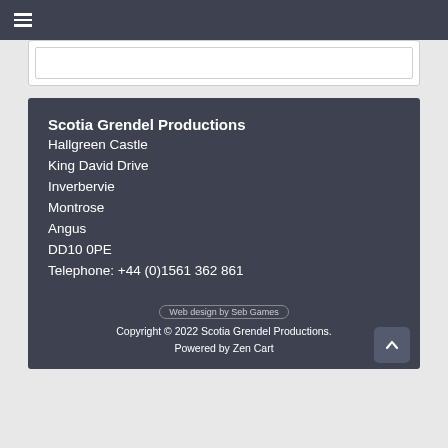☰ (navigation menu)
Scotia Grendel Productions
Hallgreen Castle
King David Drive
Inverbervie
Montrose
Angus
DD10 0PE
Telephone: +44 (0)1561 362 861
Web design by Seb Games
Copyright © 2022 Scotia Grendel Productions.
Powered by Zen Cart